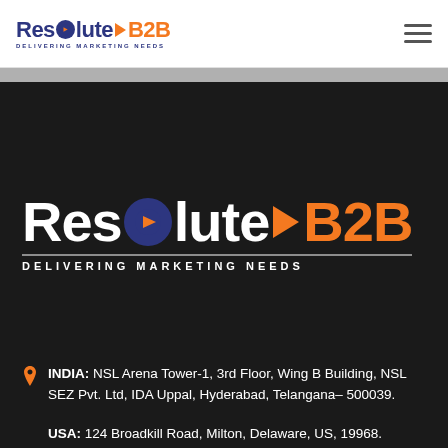[Figure (logo): Resolute B2B logo with tagline DELIVERING MARKETING NEEDS in page header]
[Figure (logo): Large Resolute B2B logo with tagline DELIVERING MARKETING NEEDS on dark background]
INDIA: NSL Arena Tower-1, 3rd Floor, Wing B Building, NSL SEZ Pvt. Ltd, IDA Uppal, Hyderabad, Telangana- 500039.
USA: 124 Broadkill Road, Milton, Delaware, US, 19968.
USA: +1 (302 664 8181)